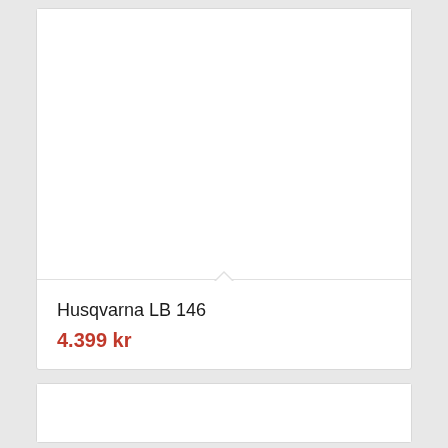[Figure (photo): Product card showing Husqvarna LB 146 lawn mower image area (white/empty image placeholder) with a notched divider]
Husqvarna LB 146
4.399 kr
[Figure (photo): Second product card image area (white/empty image placeholder)]